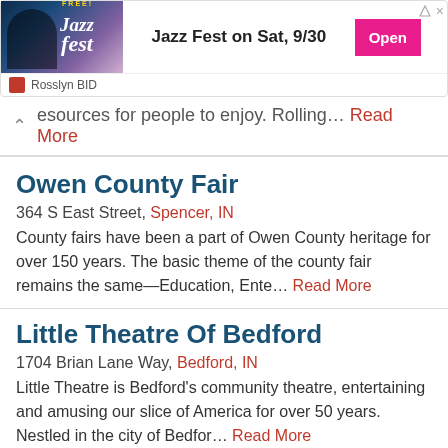[Figure (screenshot): Advertisement banner for Rosslyn Jazz Fest on Sat 9/30 with Open button and Rosslyn BID branding]
resources for people to enjoy. Rolling… Read More
Owen County Fair
364 S East Street, Spencer, IN
County fairs have been a part of Owen County heritage for over 150 years. The basic theme of the county fair remains the same—Education, Ente… Read More
Little Theatre Of Bedford
1704 Brian Lane Way, Bedford, IN
Little Theatre is Bedford's community theatre, entertaining and amusing our slice of America for over 50 years. Nestled in the city of Bedfor… Read More